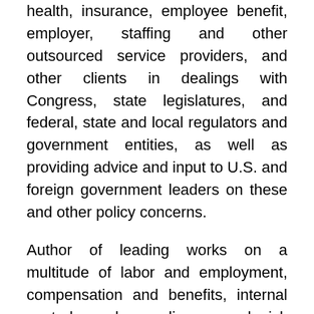health, insurance, employee benefit, employer, staffing and other outsourced service providers, and other clients in dealings with Congress, state legislatures, and federal, state and local regulators and government entities, as well as providing advice and input to U.S. and foreign government leaders on these and other policy concerns.
Author of leading works on a multitude of labor and employment, compensation and benefits, internal controls and compliance, and risk management matters and a Fellow in the American College of Employee Benefit Counsel, the American Bar Foundation and the Texas Bar Foundation, Ms. Stamer also shares her thought leadership, experience and advocacy on these and other related concerns by her service in the leadership of the Solutions Law Press, Inc. Coalition for Responsible Health Policy, its PROJECT COPE: Coalition on Patient